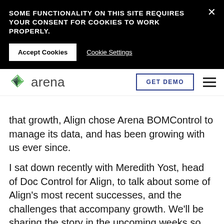SOME FUNCTIONALITY ON THIS SITE REQUIRES YOUR CONSENT FOR COOKIES TO WORK PROPERLY.
Accept Cookies   Cookie Settings
[Figure (logo): Arena logo with green hexagonal icon and 'arena' wordmark, GET DEMO button, hamburger menu]
that growth, Align chose Arena BOMControl to manage its data, and has been growing with us ever since.
I sat down recently with Meredith Yost, head of Doc Control for Align, to talk about some of Align's most recent successes, and the challenges that accompany growth. We'll be sharing the story in the upcoming weeks so stay tuned!